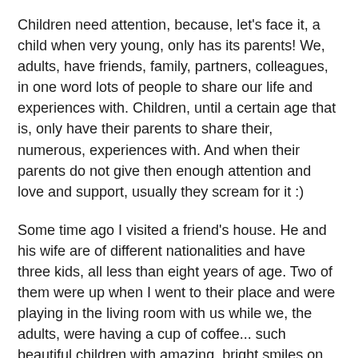Children need attention, because, let's face it, a child when very young, only has its parents! We, adults, have friends, family, partners, colleagues, in one word lots of people to share our life and experiences with. Children, until a certain age that is, only have their parents to share their, numerous, experiences with. And when their parents do not give then enough attention and love and support, usually they scream for it :)
Some time ago I visited a friend's house. He and his wife are of different nationalities and have three kids, all less than eight years of age. Two of them were up when I went to their place and were playing in the living room with us while we, the adults, were having a cup of coffee... such beautiful children with amazing, bright smiles on their faces and polite as can be! They made a castle of pillows in a corner in the room and kept playing in our company, practically invisible but obviously content. They had their fun, we had ours! No screaming, no arguing between them, no interruptions, no claiming attention... just fun! Now, that says to me that the parents are doing something very right there! Happy children are the product of happy parents and happy, fortunate